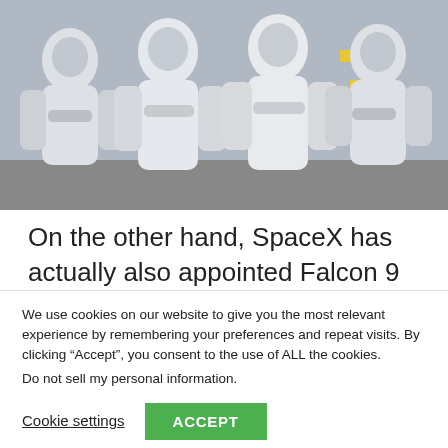[Figure (photo): Four astronauts in white SpaceX suits standing together with arms crossed, photographed outdoors near launch infrastructure.]
On the other hand, SpaceX has actually also appointed Falcon 9 booster B1062 to introduce Inspiration4, making the objective the very first time a twice-flown Falcon
We use cookies on our website to give you the most relevant experience by remembering your preferences and repeat visits. By clicking “Accept”, you consent to the use of ALL the cookies.
Do not sell my personal information.
Cookie settings
ACCEPT